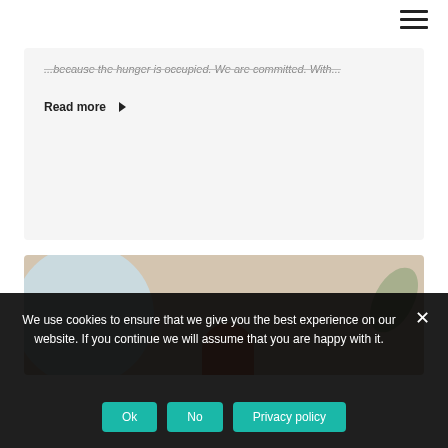[Figure (screenshot): Hamburger menu icon (three horizontal lines) in the top-right corner of the page navigation bar]
...because the hunger is occupied. We are committed. With...
Read more ▶
[Figure (photo): Partial photo of an elderly person seen from above, with a circular mirror/plate and plant leaves visible, on a warm beige background]
We use cookies to ensure that we give you the best experience on our website. If you continue we will assume that you are happy with it.
Ok
No
Privacy policy